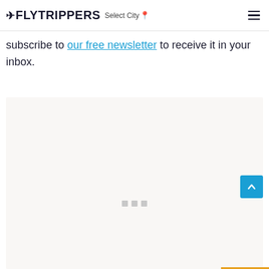FLYTRIPPERS  Select City
We'll also update our ultimate guide to Canada's en... soon.
subscribe to our free newsletter to receive it in your inbox.
[Figure (other): Advertisement placeholder area with light beige background and three gray loading dots in the center]
[Figure (other): Blue back-to-top button with upward chevron arrow icon, positioned bottom right]